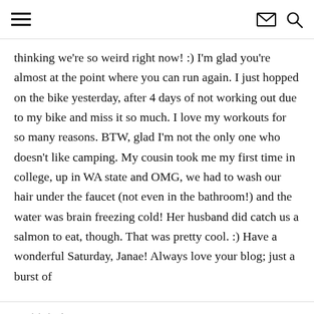[hamburger menu] [envelope icon] [search icon]
thinking we’re so weird right now! :) I’m glad you’re almost at the point where you can run again. I just hopped on the bike yesterday, after 4 days of not working out due to my bike and miss it so much. I love my workouts for so many reasons. BTW, glad I’m not the only one who doesn’t like camping. My cousin took me my first time in college, up in WA state and OMG, we had to wash our hair under the faucet (not even in the bathroom!) and the water was brain freezing cold! Her husband did catch us a salmon to eat, though. That was pretty cool. :) Have a wonderful Saturday, Janae! Always love your blog; just a burst of
positivity!